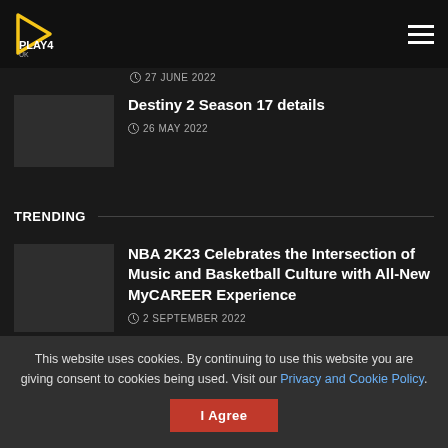PLAY4 UK
27 JUNE 2022
Destiny 2 Season 17 details
26 MAY 2022
TRENDING
NBA 2K23 Celebrates the Intersection of Music and Basketball Culture with All-New MyCAREER Experience
2 SEPTEMBER 2022
This website uses cookies. By continuing to use this website you are giving consent to cookies being used. Visit our Privacy and Cookie Policy.
I Agree